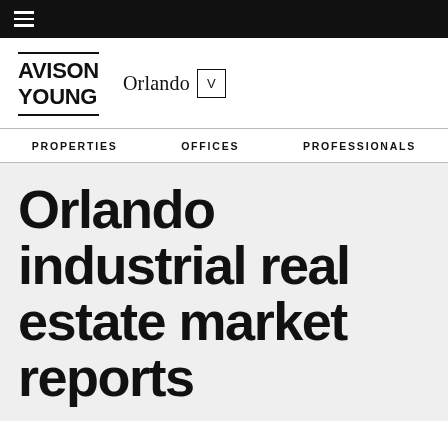≡
[Figure (logo): Avison Young logo with Orlando location dropdown]
PROPERTIES   OFFICES   PROFESSIONALS
Orlando industrial real estate market reports